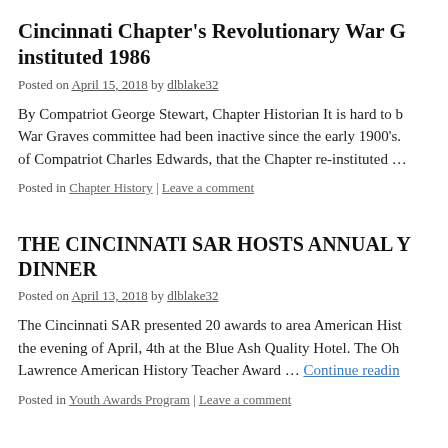Cincinnati Chapter's Revolutionary War Graves – instituted 1986
Posted on April 15, 2018 by dlblake32
By Compatriot George Stewart, Chapter Historian It is hard to b… War Graves committee had been inactive since the early 1900's… of Compatriot Charles Edwards, that the Chapter re-instituted …
Posted in Chapter History | Leave a comment
THE CINCINNATI SAR HOSTS ANNUAL Y… DINNER
Posted on April 13, 2018 by dlblake32
The Cincinnati SAR presented 20 awards to area American Hist… the evening of April, 4th at the Blue Ash Quality Hotel. The Oh… Lawrence American History Teacher Award … Continue reading
Posted in Youth Awards Program | Leave a comment